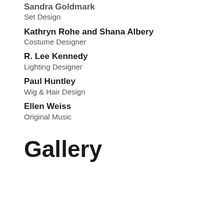Sandra Goldmark
Set Design
Kathryn Rohe and Shana Albery
Costume Designer
R. Lee Kennedy
Lighting Designer
Paul Huntley
Wig & Hair Design
Ellen Weiss
Original Music
Gallery